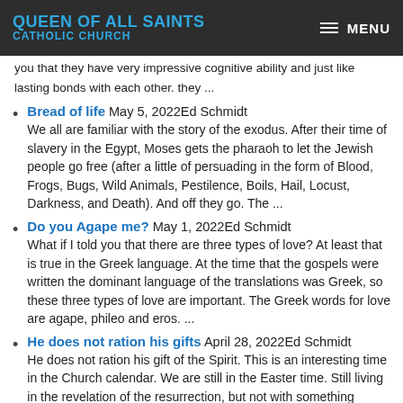QUEEN OF ALL SAINTS CATHOLIC CHURCH | MENU
you that they have very impressive cognitive ability and just like ... lasting bonds with each other. they ...
Bread of life May 5, 2022Ed Schmidt
We all are familiar with the story of the exodus. After their time of slavery in the Egypt, Moses gets the pharaoh to let the Jewish people go free (after a little of persuading in the form of Blood, Frogs, Bugs, Wild Animals, Pestilence, Boils, Hail, Locust, Darkness, and Death). And off they go. The ...
Do you Agape me? May 1, 2022Ed Schmidt
What if I told you that there are three types of love? At least that is true in the Greek language. At the time that the gospels were written the dominant language of the translations was Greek, so these three types of love are important. The Greek words for love are agape, phileo and eros. ...
He does not ration his gifts April 28, 2022Ed Schmidt
He does not ration his gift of the Spirit. This is an interesting time in the Church calendar. We are still in the Easter time. Still living in the revelation of the resurrection, but not with something